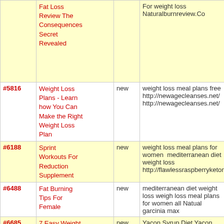| # | Title | Status | Keywords/URL |
| --- | --- | --- | --- |
|  | Fat Loss Review The Consequences Secret Revealed |  | For weight loss Naturalburnreview.Co |
| #5816 | Weight Loss Plans - Learn how You Can Make the Right Weight Loss Plan | new | weight loss meal plans free http://newagecleanses.net/ http://newagecleanses.net/ |
| #6188 | Sprint Workouts For Reduction Supplement | new | weight loss meal plans for women  mediterranean diet weight loss http://flawlessraspberryketoneblog.co |
| #6488 | Fat Burning Tips For Female | new | mediterranean diet weight loss weight loss meal plans for women all Natual garcinia max |
| #6685 | 7 Easy Weight Loss Diet Tips Reduce Your Extra Fat | new | Yacon Syrup Diet Yacon Syrup Extrac weight loss meals |
| #6813 | How Hit Your Reduction Target | new | Raspberry Ketone Blast and cleanse xtrem free meal plans for weight loss http://raspberryketoneblasts.org/ |
| #7050 | The Ugly Side of Green Coffee Max | new | weight loss meal plans best weight lo plan  Green Coffee Max |
| #7342 | Need To Detox | new | Aloe Vera Cleanse Aloe Vera Cleanse |